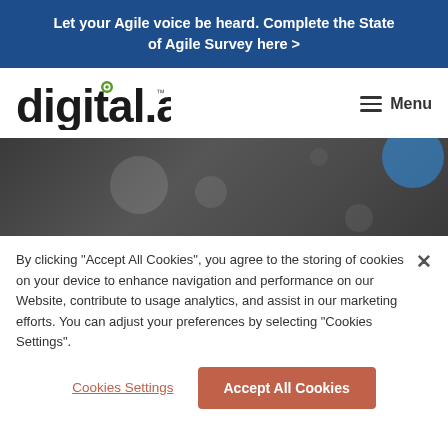Let your Agile voice be heard. Complete the State of Agile Survey here >
[Figure (logo): digital.ai logo with stylized green dot in the letter 'i']
Menu
[Figure (photo): Dark blurred bokeh background with blue circular light on right side]
By clicking "Accept All Cookies", you agree to the storing of cookies on your device to enhance navigation and performance on our Website, contribute to usage analytics, and assist in our marketing efforts. You can adjust your preferences by selecting “Cookies Settings”.
Cookies Settings
Accept All Cookies